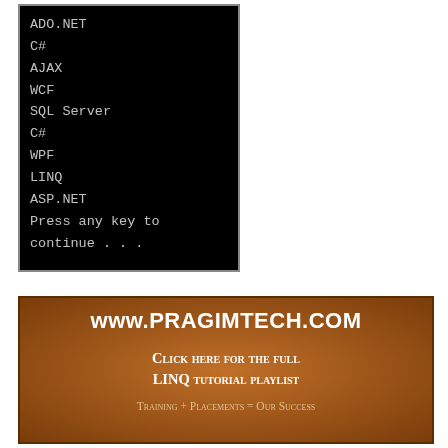[Figure (screenshot): Black terminal/console window showing a list of programming topics: ADO.NET, C#, AJAX, WCF, SQL Server, C#, WPF, LINQ, ASP.NET, and 'Press any key to continue . . .']
[Figure (other): Brown promotional banner for www.PRAGIMTECH.COM with text 'Click here for the full LINQ tutorial playlist' and tagline 'Training + Placements = Our Success']